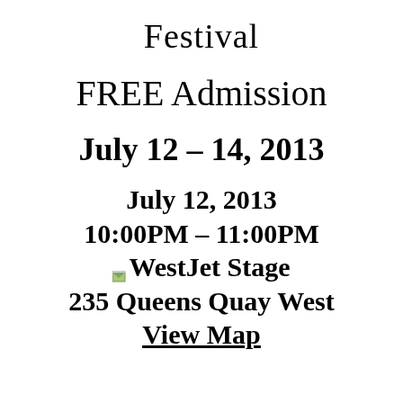Festival
FREE Admission
July 12 – 14, 2013
July 12, 2013
10:00PM – 11:00PM
WestJet Stage
235 Queens Quay West
View Map